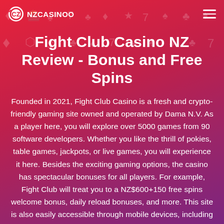NZCASINOO
Fight Club Casino NZ Review - Bonus and Free Spins
Founded in 2021, Fight Club Casino is a fresh and crypto-friendly gaming site owned and operated by Dama N.V. As a player here, you will explore over 5000 games from 90 software developers. Whether you like the thrill of pokies, table games, jackpots, or live games, you will experience it here. Besides the exciting gaming options, the casino has spectacular bonuses for all players. For example, Fight Club will treat you to a NZ$600+150 free spins welcome bonus, daily reload bonuses, and more. This site is also easily accessible through mobile devices, including iOS and Android. You can read our extensive review and know more